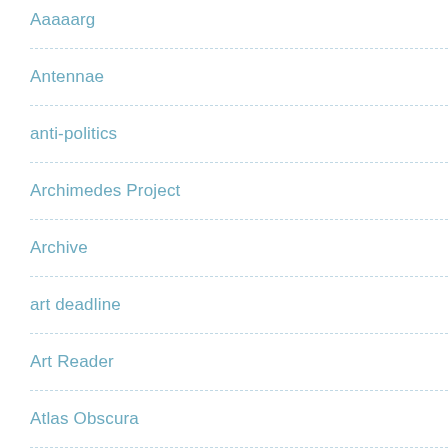Aaaaarg
Antennae
anti-politics
Archimedes Project
Archive
art deadline
Art Reader
Atlas Obscura
Aut-op-sy
Benjamin
Biocurious